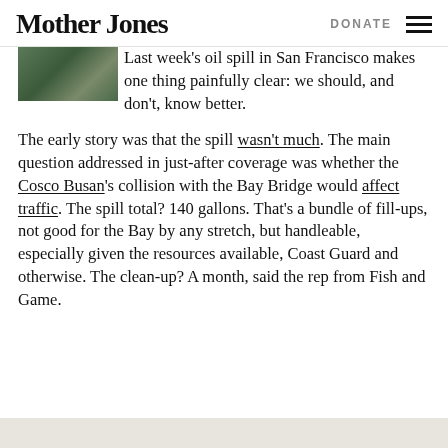Mother Jones | DONATE
Last week's oil spill in San Francisco makes one thing painfully clear: we should, and don't, know better.
The early story was that the spill wasn't much. The main question addressed in just-after coverage was whether the Cosco Busan's collision with the Bay Bridge would affect traffic. The spill total? 140 gallons. That's a bundle of fill-ups, not good for the Bay by any stretch, but handleable, especially given the resources available, Coast Guard and otherwise. The clean-up? A month, said the rep from Fish and Game.